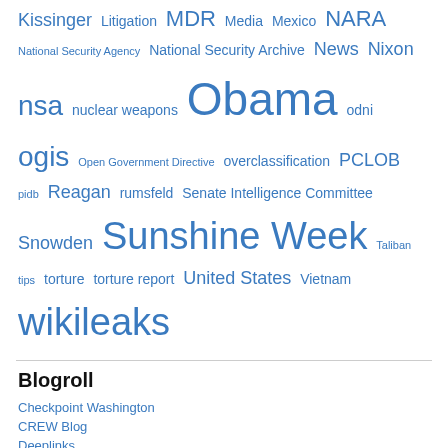Kissinger Litigation MDR Media Mexico NARA National Security Agency National Security Archive News Nixon nsa nuclear weapons Obama odni ogis Open Government Directive overclassification PCLOB pidb Reagan rumsfeld Senate Intelligence Committee Snowden Sunshine Week Taliban tips torture torture report United States Vietnam wikileaks
Blogroll
Checkpoint Washington
CREW Blog
Deeplinks
DOCEXBLOG
Government Attic
Informed Consent
Migration Declassified
PolicyBeta
Project on Government Oversight Blog
Secrecy News